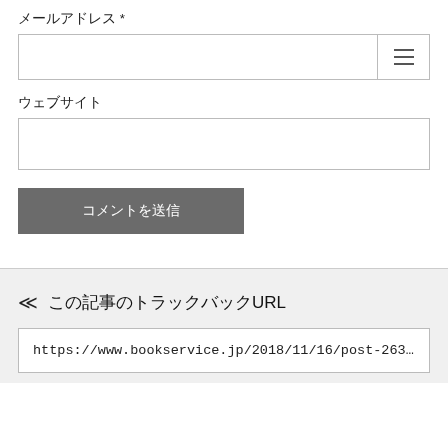メールアドレス *
ウェブサイト
コメントを送信
🔙 この記事のトラックバックURL
https://www.bookservice.jp/2018/11/16/post-2635/tra